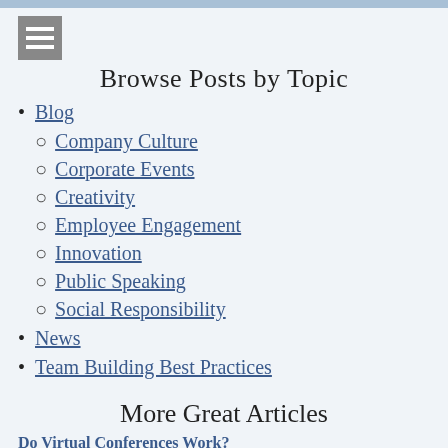[Figure (other): Hamburger menu icon (three horizontal lines) in a grey square]
Browse Posts by Topic
Blog
Company Culture
Corporate Events
Creativity
Employee Engagement
Innovation
Public Speaking
Social Responsibility
News
Team Building Best Practices
More Great Articles
Do Virtual Conferences Work?
Do virtual conferences work? If you're googling this topic, you must be considering the option of a virtual conference so I'll